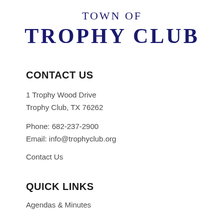TOWN OF
TROPHY CLUB
CONTACT US
1 Trophy Wood Drive
Trophy Club, TX 76262
Phone: 682-237-2900
Email: info@trophyclub.org
Contact Us
QUICK LINKS
Agendas & Minutes